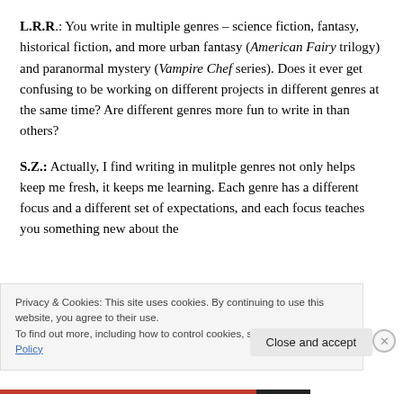L.R.R.: You write in multiple genres – science fiction, fantasy, historical fiction, and more urban fantasy (American Fairy trilogy) and paranormal mystery (Vampire Chef series). Does it ever get confusing to be working on different projects in different genres at the same time? Are different genres more fun to write in than others?
S.Z.: Actually, I find writing in mulitple genres not only helps keep me fresh, it keeps me learning. Each genre has a different focus and a different set of expectations, and each focus teaches you something new about the
Privacy & Cookies: This site uses cookies. By continuing to use this website, you agree to their use.
To find out more, including how to control cookies, see here: Cookie Policy